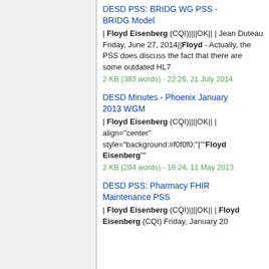DESD PSS: BRIDG WG PSS - BRIDG Model | Floyd Eisenberg (CQI)||||OK|| | Jean Duteau Friday, June 27, 2014||Floyd - Actually, the PSS does discuss the fact that there are some outdated HL7 2 KB (383 words) - 22:26, 21 July 2014
DESD Minutes - Phoenix January 2013 WGM | Floyd Eisenberg (CQI)||||OK|| | align="center" style="background:#f0f0f0;"|""Floyd Eisenberg"" 2 KB (294 words) - 16:24, 11 May 2013
DESD PSS: Pharmacy FHIR Maintenance PSS | Floyd Eisenberg (CQI)||||OK|| | Floyd Eisenberg (CQI) Friday, January 20...